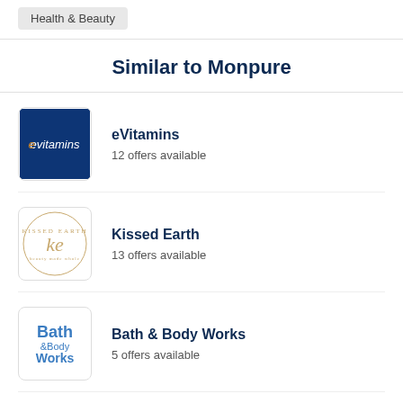Health & Beauty
Similar to Monpure
eVitamins — 12 offers available
Kissed Earth — 13 offers available
Bath & Body Works — 5 offers available
Aduro